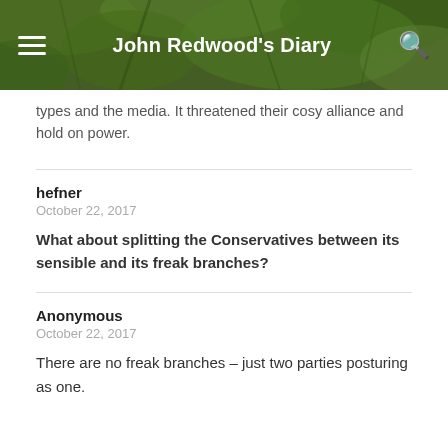John Redwood's Diary
types and the media. It threatened their cosy alliance and hold on power.
hefner
October 22, 2017
What about splitting the Conservatives between its sensible and its freak branches?
Anonymous
October 22, 2017
There are no freak branches – just two parties posturing as one.